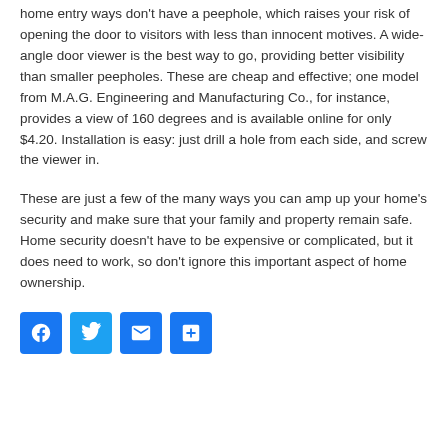home entry ways don't have a peephole, which raises your risk of opening the door to visitors with less than innocent motives. A wide-angle door viewer is the best way to go, providing better visibility than smaller peepholes. These are cheap and effective; one model from M.A.G. Engineering and Manufacturing Co., for instance, provides a view of 160 degrees and is available online for only $4.20. Installation is easy: just drill a hole from each side, and screw the viewer in.
These are just a few of the many ways you can amp up your home's security and make sure that your family and property remain safe. Home security doesn't have to be expensive or complicated, but it does need to work, so don't ignore this important aspect of home ownership.
[Figure (other): Four social sharing icon buttons: Facebook (blue F), Twitter (blue bird), Mail (blue envelope), Plus/share (blue plus sign)]